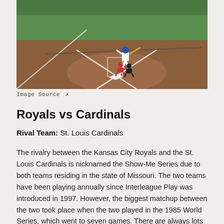[Figure (photo): Aerial/overhead view of a baseball game at bat: a batter in blue helmet swinging, a catcher and umpire crouching behind home plate, on a brown dirt infield with green grass outfield visible in the background.]
Image Source ↗
Royals vs Cardinals
Rival Team: St. Louis Cardinals
The rivalry between the Kansas City Royals and the St. Louis Cardinals is nicknamed the Show-Me Series due to both teams residing in the state of Missouri. The two teams have been playing annually since Interleague Play was introduced in 1997. However, the biggest matchup between the two took place when the two played in the 1985 World Series, which went to seven games. There are always lots of fans of both teams at